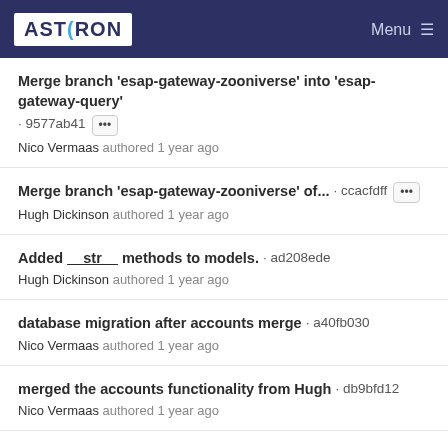ASTRON | Menu
Merge branch 'esap-gateway-zooniverse' into 'esap-gateway-query' · 9577ab41 ··· Nico Vermaas authored 1 year ago
Merge branch 'esap-gateway-zooniverse' of... · ccacfdff ··· Hugh Dickinson authored 1 year ago
Added __str__ methods to models. · ad208ede Hugh Dickinson authored 1 year ago
database migration after accounts merge · a40fb030 Nico Vermaas authored 1 year ago
merged the accounts functionality from Hugh · db9bfd12 Nico Vermaas authored 1 year ago
merged the accounts functionality from Hugh · 9e44f3b1 Nico Vermaas authored 1 year ago
Merge branch 'esap-gateway-zooniverse' into 'esap-gateway-...